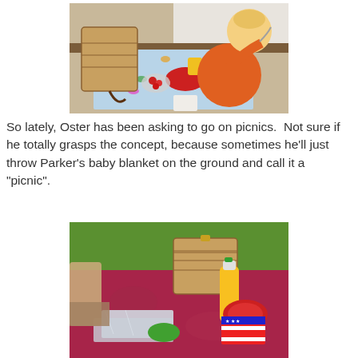[Figure (photo): Indoor picnic scene: a toddler in orange clothing sits on a colorful blanket on the floor, with a wicker basket/purse, a bowl of strawberries, and a yellow cup. The child appears to be playing with something.]
So lately, Oster has been asking to go on picnics.  Not sure if he totally grasps the concept, because sometimes he'll just throw Parker's baby blanket on the ground and call it a "picnic".
[Figure (photo): Outdoor picnic scene on green grass: a picnic basket, a bottle of orange juice, red plates, foil-wrapped items, and an American flag-themed napkin on a red patterned blanket. A person's hands are visible.]